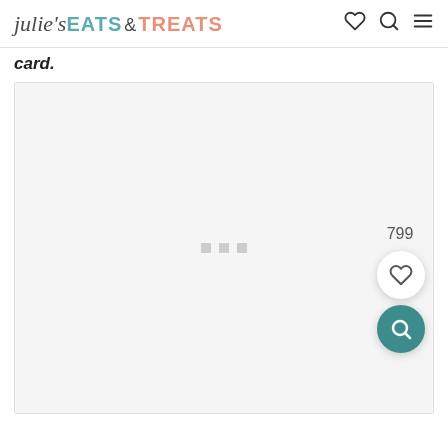julie's EATS & TREATS
card.
[Figure (screenshot): Light gray placeholder image area with three small gray loading dots centered, and a heart button showing 799 likes and a teal search button on the right side]